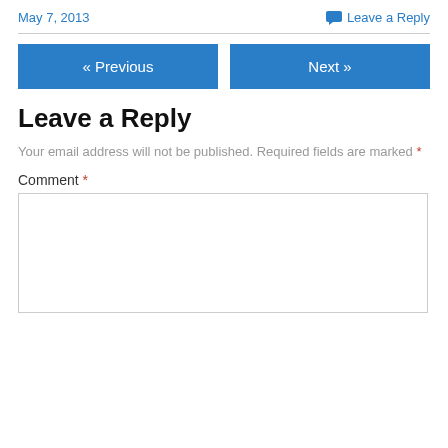May 7, 2013
Leave a Reply
« Previous
Next »
Leave a Reply
Your email address will not be published. Required fields are marked *
Comment *